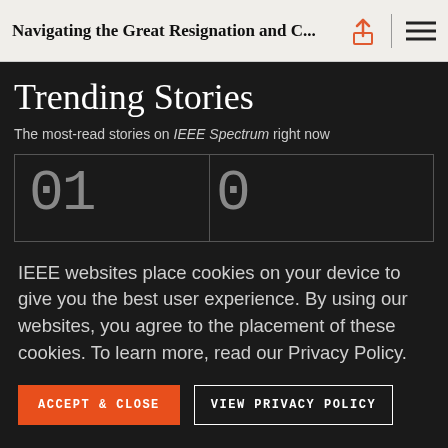Navigating the Great Resignation and C...
Trending Stories
The most-read stories on IEEE Spectrum right now
01
IEEE websites place cookies on your device to give you the best user experience. By using our websites, you agree to the placement of these cookies. To learn more, read our Privacy Policy.
ACCEPT & CLOSE
VIEW PRIVACY POLICY